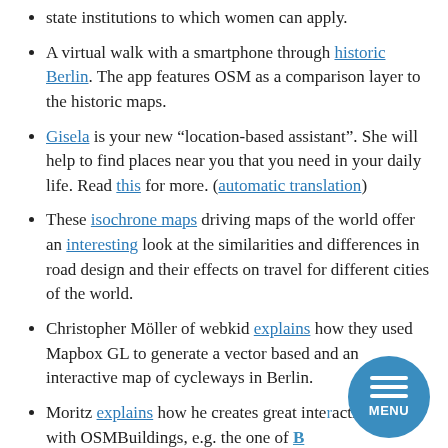state institutions to which women can apply.
A virtual walk with a smartphone through historic Berlin. The app features OSM as a comparison layer to the historic maps.
Gisela is your new “location-based assistant”. She will help to find places near you that you need in your daily life. Read this for more. (automatic translation)
These isochrone maps driving maps of the world offer an interesting look at the similarities and differences in road design and their effects on travel for different cities of the world.
Christopher Möller of webkid explains how they used Mapbox GL to generate a vector based and an interactive map of cycleways in Berlin.
Moritz explains how he creates great interactive maps with OSMBuildings, e.g. the one of B...